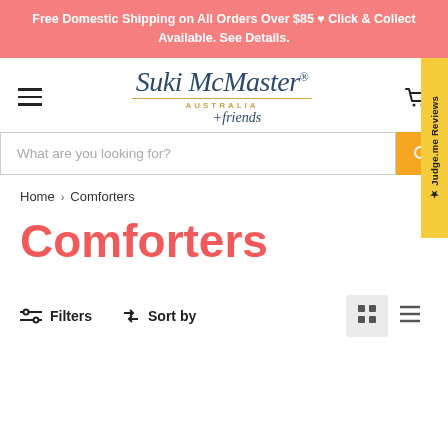Free Domestic Shipping on All Orders Over $85 ♥ Click & Collect Available. See Details.
[Figure (logo): Suki McMaster Australia + friends logo with cursive script and gold underline]
What are you looking for?
Home > Comforters
Comforters
Filters   Sort by